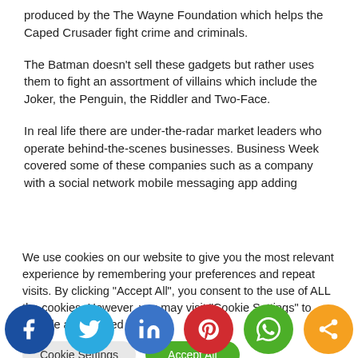produced by the The Wayne Foundation which helps the Caped Crusader fight crime and criminals.
The Batman doesn’t sell these gadgets but rather uses them to fight an assortment of villains which include the Joker, the Penguin, the Riddler and Two-Face.
In real life there are under-the-radar market leaders who operate behind-the-scenes businesses. Business Week covered some of these companies such as a company with a social network mobile messaging app adding
We use cookies on our website to give you the most relevant experience by remembering your preferences and repeat visits. By clicking “Accept All”, you consent to the use of ALL the cookies. However, you may visit “Cookie Settings” to provide a controlled consent.
Cookie Settings
Accept All